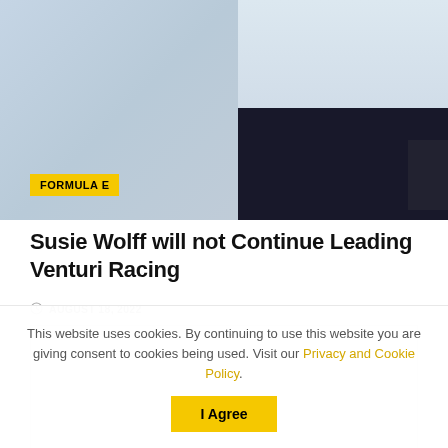[Figure (photo): Hero photo of a person in a white shirt and black trousers with a 'FORMULA E' yellow badge overlay in the lower left of the image]
Susie Wolff will not Continue Leading Venturi Racing
AUGUST 18, 2022
[Figure (other): Advertisement placeholder (grey box)]
This website uses cookies. By continuing to use this website you are giving consent to cookies being used. Visit our Privacy and Cookie Policy.